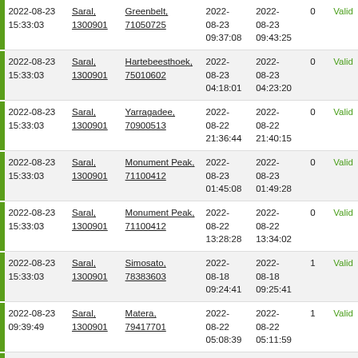|  | Date | Satellite | Station | Start | End | Count | Status |
| --- | --- | --- | --- | --- | --- | --- | --- |
|  | 2022-08-23 15:33:03 | Saral, 1300901 | Greenbelt, 71050725 | 2022-08-23 09:37:08 | 2022-08-23 09:43:25 | 0 | Valid |
|  | 2022-08-23 15:33:03 | Saral, 1300901 | Hartebeesthoek, 75010602 | 2022-08-23 04:18:01 | 2022-08-23 04:23:20 | 0 | Valid |
|  | 2022-08-23 15:33:03 | Saral, 1300901 | Yarragadee, 70900513 | 2022-08-22 21:36:44 | 2022-08-22 21:40:15 | 0 | Valid |
|  | 2022-08-23 15:33:03 | Saral, 1300901 | Monument Peak, 71100412 | 2022-08-23 01:45:08 | 2022-08-23 01:49:28 | 0 | Valid |
|  | 2022-08-23 15:33:03 | Saral, 1300901 | Monument Peak, 71100412 | 2022-08-22 13:28:28 | 2022-08-22 13:34:02 | 0 | Valid |
|  | 2022-08-23 15:33:03 | Saral, 1300901 | Simosato, 78383603 | 2022-08-18 09:24:41 | 2022-08-18 09:25:41 | 1 | Valid |
|  | 2022-08-23 09:39:49 | Saral, 1300901 | Matera, 79417701 | 2022-08-22 05:08:39 | 2022-08-22 05:11:59 | 1 | Valid |
|  | 2022-08-23 | Saral, | Wettzell, | 2022- | 2022- | 0 | Valid |